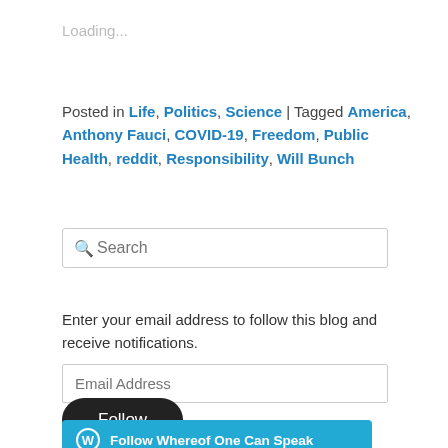Loading...
Posted in Life, Politics, Science | Tagged America, Anthony Fauci, COVID-19, Freedom, Public Health, reddit, Responsibility, Will Bunch
[Figure (other): Search input box with magnifying glass icon and placeholder text 'Search']
Enter your email address to follow this blog and receive notifications.
[Figure (other): Email address input field with placeholder 'Email Address']
[Figure (other): Dark rounded Follow button]
[Figure (other): WordPress follow bar: Follow Whereof One Can Speak]